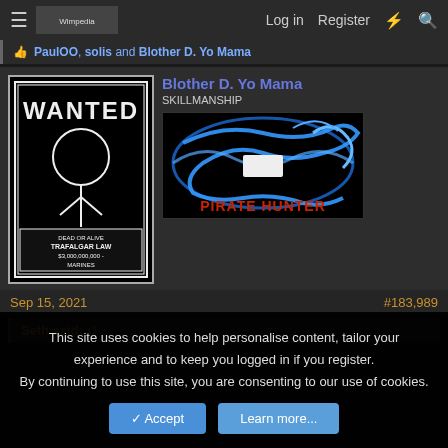Log in  Register
PaulOO, solis and Blother D. Yo Mama
Blother D. Yo Mama
SKILLMANSHIP
[Figure (illustration): Anime-style 'WANTED' poster in black and white showing a character with text 'DEAD OR ALIVE TRAFALGAR LAW $3,000,000,000 MARINES']
[Figure (illustration): Dark image with blue swirling creature and red text 'PIRATE HUNTER']
Sep 15, 2021
#183,989
Seth said: ↪
This site uses cookies to help personalise content, tailor your experience and to keep you logged in if you register.
By continuing to use this site, you are consenting to our use of cookies.